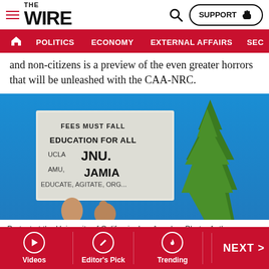THE WIRE — SUPPORT | POLITICS | ECONOMY | EXTERNAL AFFAIRS | SECU...
and non-citizens is a preview of the even greater horrors that will be unleashed with the CAA-NRC.
[Figure (photo): Protest at the University of California, Los Angeles. A person holds a sign reading 'FEES MUST FALL / EDUCATION FOR ALL / UCLA JNU. AMU, JAMIA / EDUCATE, AGITATE, ORG...' against a blue sky with a tall conifer tree in the background.]
Protest at the University of California, Los Angeles. Photo: Author Provided
Videos | Editor's Pick | Trending | NEXT >